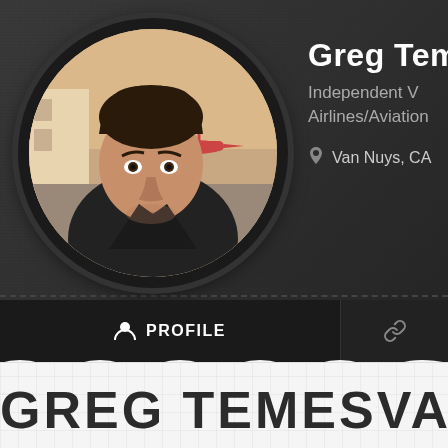[Figure (photo): Profile photo of Greg Temesvari, a man with short dark hair, outdoors near aircraft, in a dark jacket. Displayed in a circular frame with dark border.]
Greg Tem
Independent V
Airlines/Aviation
Van Nuys, CA
PROFILE
GREG TEMESVAR